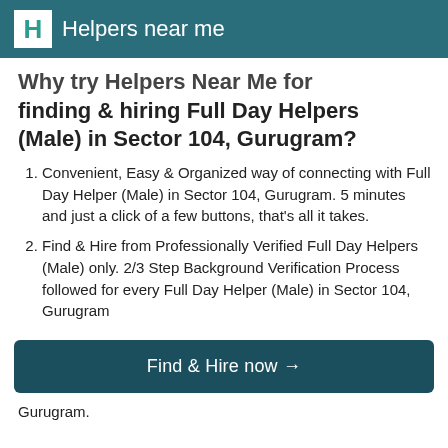Helpers near me
Why try Helpers Near Me for finding & hiring Full Day Helpers (Male) in Sector 104, Gurugram?
Convenient, Easy & Organized way of connecting with Full Day Helper (Male) in Sector 104, Gurugram. 5 minutes and just a click of a few buttons, that's all it takes.
Find & Hire from Professionally Verified Full Day Helpers (Male) only. 2/3 Step Background Verification Process followed for every Full Day Helper (Male) in Sector 104, Gurugram
Find & Hire now →
Gurugram.